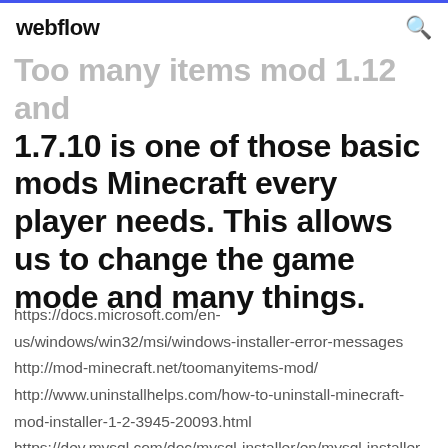webflow
Too many items mod 1.12 and 1.7.10 is one of those basic mods Minecraft every player needs. This allows us to change the game mode and many things.
https://docs.microsoft.com/en-us/windows/win32/msi/windows-installer-error-messages http://mod-minecraft.net/toomanyitems-mod/ http://www.uninstallhelps.com/how-to-uninstall-minecraft-mod-installer-1-2-3945-20093.html https://dev.mysql.com/doc/mysql-installer/en/mysql-installer-setup.html https://www.freedesktop.org/wiki/Distributions/Meetin